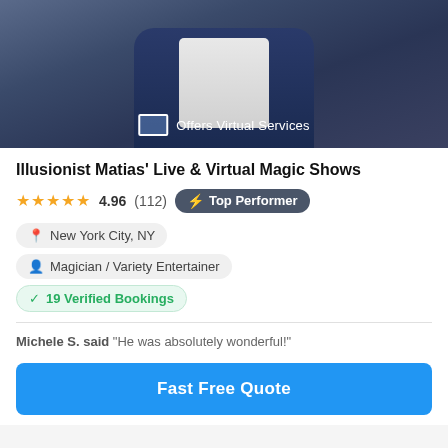[Figure (photo): Magician in blue jacket with bow tie making a hand gesture, promotional photo for magic show listing]
Illusionist Matias' Live & Virtual Magic Shows
★★★★★ 4.96 (112) ⚡ Top Performer
New York City, NY
Magician / Variety Entertainer
✓ 19 Verified Bookings
Michele S. said "He was absolutely wonderful!"
Fast Free Quote
[Figure (photo): FEATURED performance photo showing silhouettes of performers on dark background]